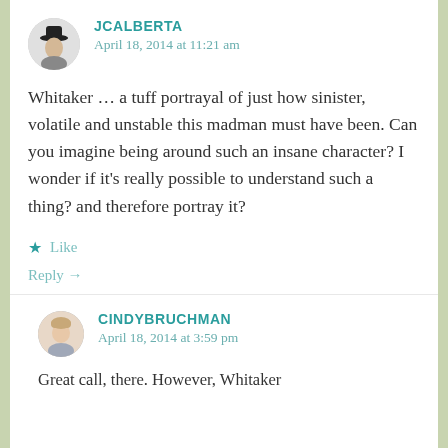[Figure (photo): Small circular avatar of JCALBERTA, black and white photo of a person wearing a hat]
JCALBERTA
April 18, 2014 at 11:21 am
Whitaker … a tuff portrayal of just how sinister, volatile and unstable this madman must have been. Can you imagine being around such an insane character? I wonder if it's really possible to understand such a thing? and therefore portray it?
★ Like
Reply →
[Figure (photo): Small circular avatar of CINDYBRUCHMAN, color photo of a woman]
CINDYBRUCHMAN
April 18, 2014 at 3:59 pm
Great call, there. However, Whitaker